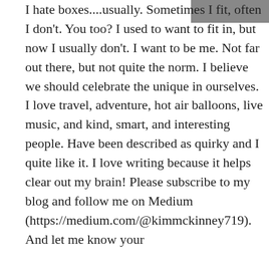[Figure (photo): Partial photo visible at top right corner of the page, cropped]
I hate boxes....usually. Sometimes I fit, often I don't. You too? I used to want to fit in, but now I usually don't. I want to be me. Not far out there, but not quite the norm. I believe we should celebrate the unique in ourselves. I love travel, adventure, hot air balloons, live music, and kind, smart, and interesting people. Have been described as quirky and I quite like it. I love writing because it helps clear out my brain! Please subscribe to my blog and follow me on Medium (https://medium.com/@kimmckinney719). And let me know your